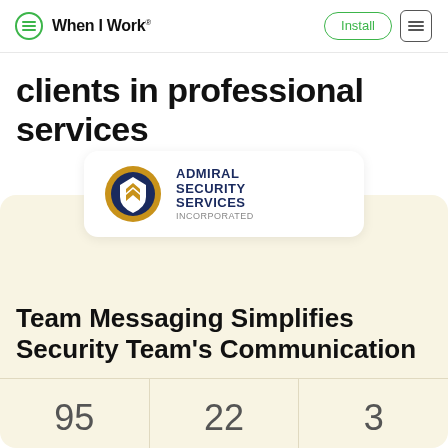When I Work® | Install | ≡
clients in professional services
[Figure (logo): Admiral Security Services Incorporated logo — circular gold and navy badge with shield/chevron icon, company name in bold navy text]
Team Messaging Simplifies Security Team's Communication
95
22
3